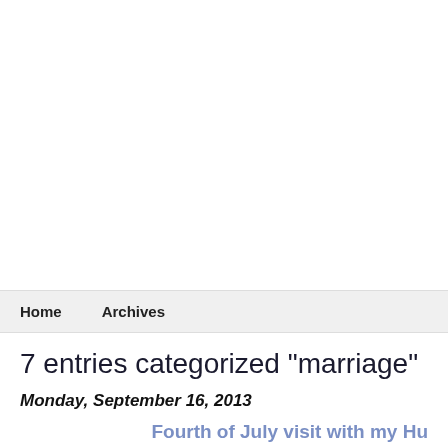Home   Archives
7 entries categorized "marriage"
Monday, September 16, 2013
Fourth of July visit with my Hu
I went to visit my husband today he's in prison in Illinois. There